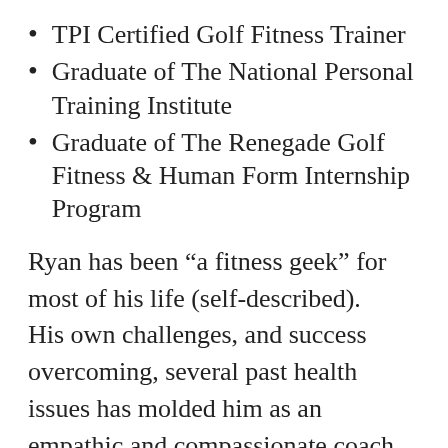TPI Certified Golf Fitness Trainer
Graduate of The National Personal Training Institute
Graduate of The Renegade Golf Fitness & Human Form Internship Program
Ryan has been “a fitness geek” for most of his life (self-described).   His own challenges, and success overcoming, several past health issues has molded him as an empathic and compassionate coach.  In addition to his passion for all things related to health and fitness, Ryan has served in the military and as a federal civilian where his missions took him to Europe and the Middle East. These